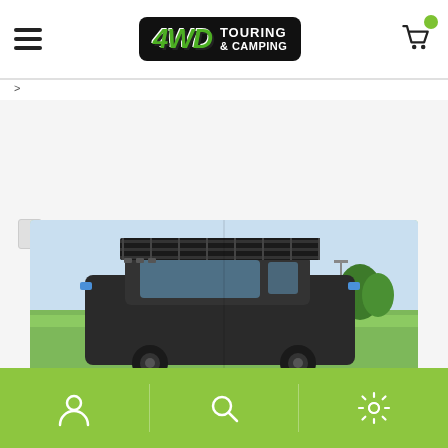4WD Touring & Camping — website header with navigation
>
[Figure (photo): 4WD vehicle with roof rack carrier mounted on top, photographed outdoors on a green field with trees and sky in background]
Bottom navigation bar with account, search, and settings icons